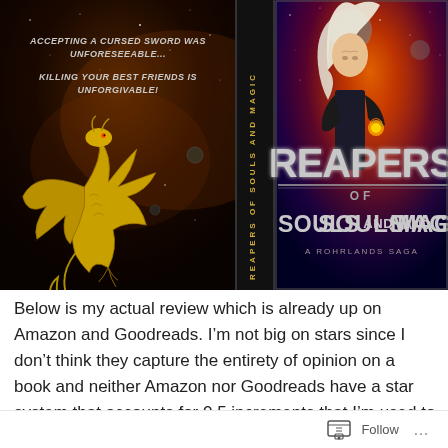[Figure (illustration): Book cover for 'Reapers of Souls and Magic: A Rohrlands Saga'. Shows front cover with a white-haired woman and large fantasy title text 'REAPERS OF SOULS AND MAGIC', spine text 'REAPERS OF SOULS AND MAGIC', and back cover with a golden dragon and taglines 'Accepting a cursed sword was unforeseeable...' and 'Killing your best friends is unforgivable!']
Below is my actual review which is already up on Amazon and Goodreads. I'm not big on stars since I don't think they capture the entirety of opinion on a book and neither Amazon nor Goodreads have a star system that accounts for 0.5 increments that I'm used to assessing things on when dealing with a 5 point scale. So I'm just going to omit them entirely on my blog. If you really want a summary of
Follow ···